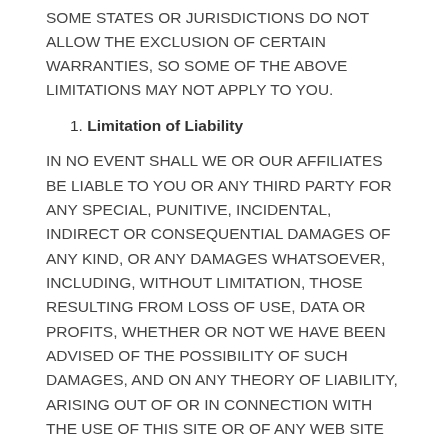SOME STATES OR JURISDICTIONS DO NOT ALLOW THE EXCLUSION OF CERTAIN WARRANTIES, SO SOME OF THE ABOVE LIMITATIONS MAY NOT APPLY TO YOU.
1. Limitation of Liability
IN NO EVENT SHALL WE OR OUR AFFILIATES BE LIABLE TO YOU OR ANY THIRD PARTY FOR ANY SPECIAL, PUNITIVE, INCIDENTAL, INDIRECT OR CONSEQUENTIAL DAMAGES OF ANY KIND, OR ANY DAMAGES WHATSOEVER, INCLUDING, WITHOUT LIMITATION, THOSE RESULTING FROM LOSS OF USE, DATA OR PROFITS, WHETHER OR NOT WE HAVE BEEN ADVISED OF THE POSSIBILITY OF SUCH DAMAGES, AND ON ANY THEORY OF LIABILITY, ARISING OUT OF OR IN CONNECTION WITH THE USE OF THIS SITE OR OF ANY WEB SITE REFERENCED OR LINKED TO FROM THIS SITE.
FURTHER, WE SHALL NOT BE LIABLE IN ANY WAY FOR THIRD PARTY GOODS AND SERVICES OFFERED THROUGH THIS